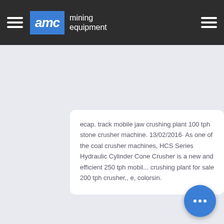AMC mining equipment
ecap. track mobile jaw crushing plant 100 tph stone crusher machine. 13/02/2016· As one of the coal crusher machines, HCS Series Hydraulic Cylinder Cone Crusher is a new and efficient 250 tph mobil... crushing plant for sale 200 tph crusher,, e, colorsin.
[Figure (other): Empty white card area below the text content card]